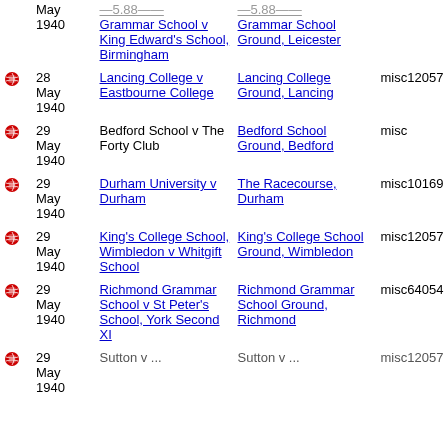|  | Date | Match | Ground | Code |
| --- | --- | --- | --- | --- |
|  | May 1940 | Grammar School v King Edward's School, Birmingham | Grammar School Ground, Leicester |  |
| • | 28 May 1940 | Lancing College v Eastbourne College | Lancing College Ground, Lancing | misc12057 |
| • | 29 May 1940 | Bedford School v The Forty Club | Bedford School Ground, Bedford | misc |
| • | 29 May 1940 | Durham University v Durham | The Racecourse, Durham | misc10169 |
| • | 29 May 1940 | King's College School, Wimbledon v Whitgift School | King's College School Ground, Wimbledon | misc12057 |
| • | 29 May 1940 | Richmond Grammar School v St Peter's School, York Second XI | Richmond Grammar School Ground, Richmond | misc64054 |
| • | 29 May 1940 | Sutton v ... | Sutton v ... | misc12057 |